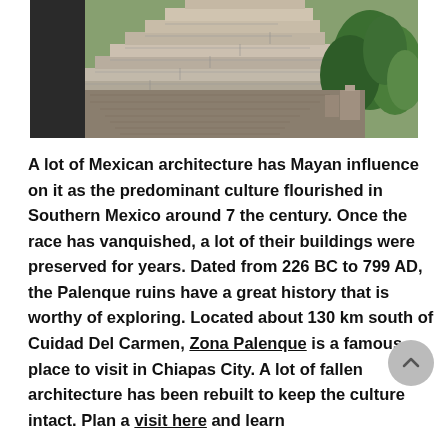[Figure (photo): Aerial/close-up photograph of Mayan ruins showing stepped stone pyramid structure with green trees in the background.]
A lot of Mexican architecture has Mayan influence on it as the predominant culture flourished in Southern Mexico around 7 the century. Once the race has vanquished, a lot of their buildings were preserved for years. Dated from 226 BC to 799 AD, the Palenque ruins have a great history that is worthy of exploring. Located about 130 km south of Cuidad Del Carmen, Zona Palenque is a famous place to visit in Chiapas City. A lot of fallen architecture has been rebuilt to keep the culture intact. Plan a visit here and learn